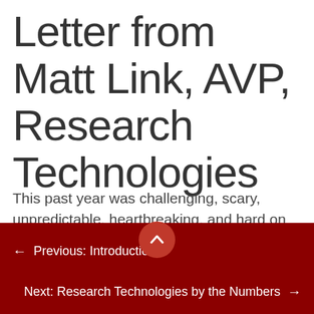Letter from Matt Link, AVP, Research Technologies
This past year was challenging, scary, unpredictable, heartbreaking, and hard on us all. Many of us lost family, friends, and colleagues–for many reasons–and overcame
← Previous: Introduction   Next: Research Technologies by the Numbers →